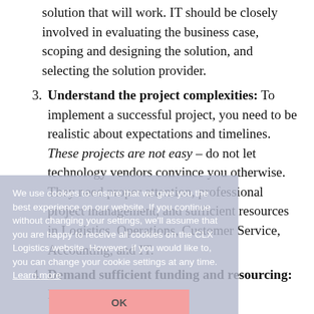solution that will work. IT should be closely involved in evaluating the business case, scoping and designing the solution, and selecting the solution provider.
3. Understand the project complexities: To implement a successful project, you need to be realistic about expectations and timelines. These projects are not easy – do not let technology vendors convince you otherwise. They need proper attention, professional project management, and sufficient resources in Logistics, Operations, Customer Service, Accounting, and IT.
4. Demand sufficient funding and resourcing: Enough said.